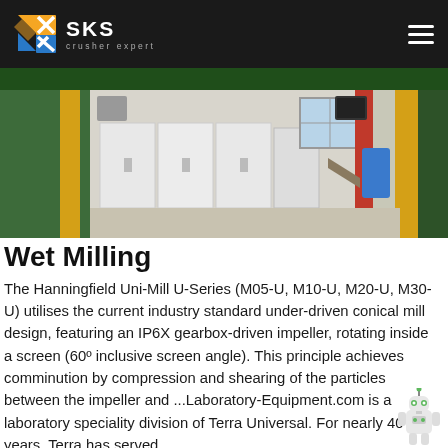SKS Crusher Expert
[Figure (photo): Industrial facility interior showing green-painted heavy machinery frames, white electrical cabinets, yellow structural columns, and a red support pillar. Gray floor material visible in foreground.]
Wet Milling
The Hanningfield Uni-Mill U-Series (M05-U, M10-U, M20-U, M30-U) utilises the current industry standard under-driven conical mill design, featuring an IP6X gearbox-driven impeller, rotating inside a screen (60º inclusive screen angle). This principle achieves comminution by compression and shearing of the particles between the impeller and ...Laboratory-Equipment.com is a laboratory speciality division of Terra Universal. For nearly 40 years, Terra has served